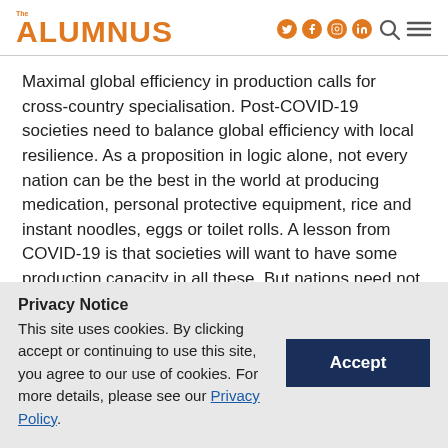The ALUMNUS
Maximal global efficiency in production calls for cross-country specialisation. Post-COVID-19 societies need to balance global efficiency with local resilience. As a proposition in logic alone, not every nation can be the best in the world at producing medication, personal protective equipment, rice and instant noodles, eggs or toilet rolls. A lesson from COVID-19 is that societies will want to have some production capacity in all these. But nations need not refer to these industries as
Privacy Notice
This site uses cookies. By clicking accept or continuing to use this site, you agree to our use of cookies. For more details, please see our Privacy Policy.